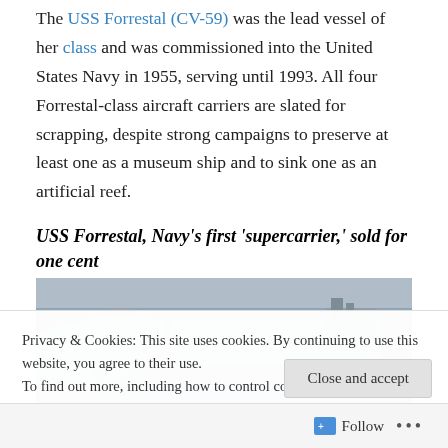The USS Forrestal (CV-59) was the lead vessel of her class and was commissioned into the United States Navy in 1955, serving until 1993. All four Forrestal-class aircraft carriers are slated for scrapping, despite strong campaigns to preserve at least one as a museum ship and to sink one as an artificial reef.
USS Forrestal, Navy's first 'supercarrier,' sold for one cent
[Figure (photo): Aerial photograph of a large aircraft carrier docked at a pier, viewed from above, showing the ship's flight deck and surrounding water]
Privacy & Cookies: This site uses cookies. By continuing to use this website, you agree to their use.
To find out more, including how to control cookies, see here: Cookie Policy